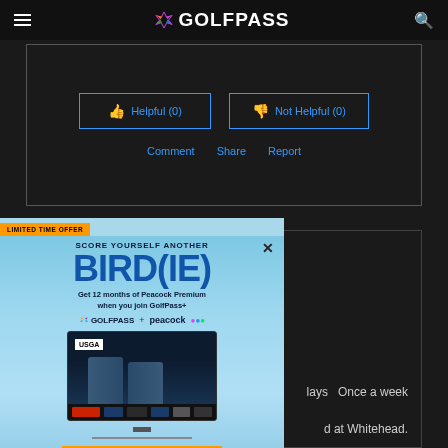GOLFPASS
[Figure (screenshot): Review interaction buttons: Helpful (0) and Not Helpful (0) with thumbs up/down icons, and action links: Comment, Share, Report]
[Figure (advertisement): GolfPass advertisement overlay: LIMITED TIME OFFER - SCORE YOURSELF ANOTHER BIRD(IE) - Get 12 months of Peacock Premium when you join GolfPass+ - GolfPass + Peacock logos - TV screen showing USGA golf content - JOIN NOW button - $4.99/mo. Eligibility restrictions and terms apply.]
Once a week
d at Whitehead.